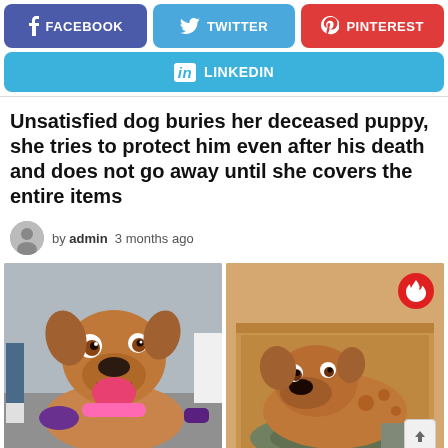[Figure (infographic): Social share buttons: Facebook (purple), Twitter (blue), Pinterest (red), LinkedIn (blue)]
Unsatisfied dog buries her deceased puppy, she tries to protect him even after his death and does not go away until she covers the entire items
by admin  3 months ago
[Figure (photo): Two photos of a brown dog: left photo shows a smiling brown dog with a pink collar looking up at camera; right photo shows a brown dog lying in a cardboard box with a fire/trending badge in top right corner and a scroll-up arrow button in bottom right corner.]